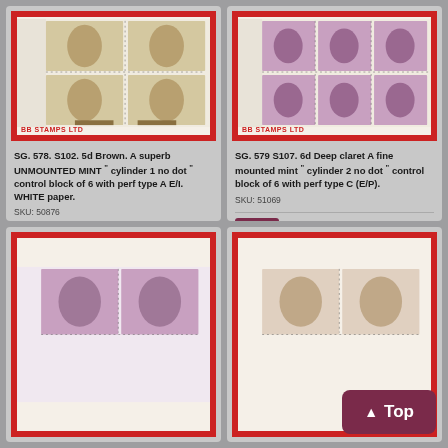[Figure (photo): Block of 4 brown 5d Wilding stamps (SG 578) with cylinder corner margin, red frame, BB STAMPS LTD watermark]
SG. 578. S102. 5d Brown. A superb UNMOUNTED MINT " cylinder 1 no dot " control block of 6 with perf type A E/I. WHITE paper.
SKU: 50876
PRICE £10.00
[Figure (photo): Block of 6 deep claret 6d Wilding stamps (SG 579) with cylinder corner margin, red frame, BB STAMPS LTD watermark]
SG. 579 S107. 6d Deep claret A fine mounted mint " cylinder 2 no dot " control block of 6 with perf type C (E/P).
SKU: 51069
PRICE £4.50
[Figure (photo): Partial view of pink/mauve Wilding stamps with red frame at bottom-left]
[Figure (photo): Partial view of pale Wilding stamp with red frame at bottom-right, partially obscured by Top button]